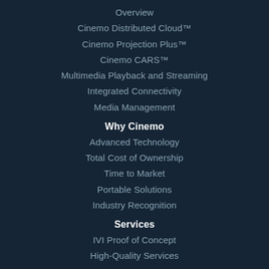Overview
Cinemo Distributed Cloud™
Cinemo Projection Plus™
Cinemo CARS™
Multimedia Playback and Streaming
Integrated Connectivity
Media Management
Why Cinemo
Advanced Technology
Total Cost of Ownership
Time to Market
Portable Solutions
Industry Recognition
Services
IVI Proof of Concept
High-Quality Services
Company
About Us